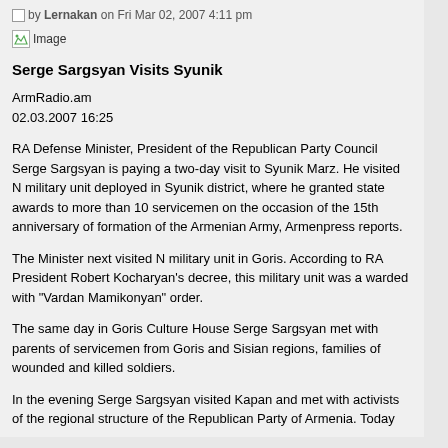by Lernakan on Fri Mar 02, 2007 4:11 pm
[Figure (other): Broken image placeholder labeled 'Image']
Serge Sargsyan Visits Syunik
ArmRadio.am
02.03.2007 16:25
RA Defense Minister, President of the Republican Party Council Serge Sargsyan is paying a two-day visit to Syunik Marz. He visited N military unit deployed in Syunik district, where he granted state awards to more than 10 servicemen on the occasion of the 15th anniversary of formation of the Armenian Army, Armenpress reports.
The Minister next visited N military unit in Goris. According to RA President Robert Kocharyan's decree, this military unit was a warded with "Vardan Mamikonyan" order.
The same day in Goris Culture House Serge Sargsyan met with parents of servicemen from Goris and Sisian regions, families of wounded and killed soldiers.
In the evening Serge Sargsyan visited Kapan and met with activists of the regional structure of the Republican Party of Armenia. Today